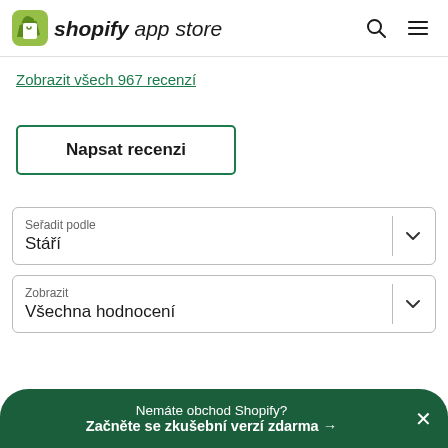shopify app store
Zobrazit všech 967 recenzí
Napsat recenzi
Seřadit podle
Stáří
Zobrazit
Všechna hodnocení
Nemáte obchod Shopify?
Začněte se zkušební verzí zdarma →